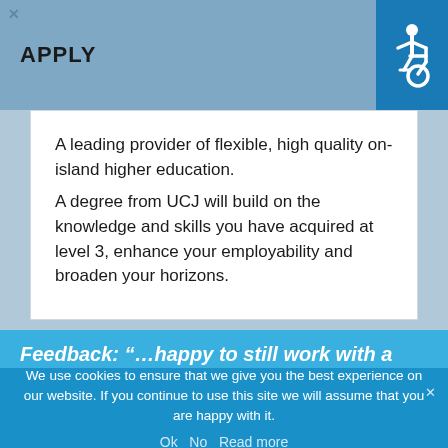APPLY
A leading provider of flexible, high quality on-island higher education.
A degree from UCJ will build on the knowledge and skills you have acquired at level 3, enhance your employability and broaden your horizons.
Feedback: “…happy to still work with a paper enrolment form… Not all are tech savvy” To
We use cookies to ensure that we give you the best experience on our website. If you continue to use this site we will assume that you are happy with it.
Ok   No   Read more